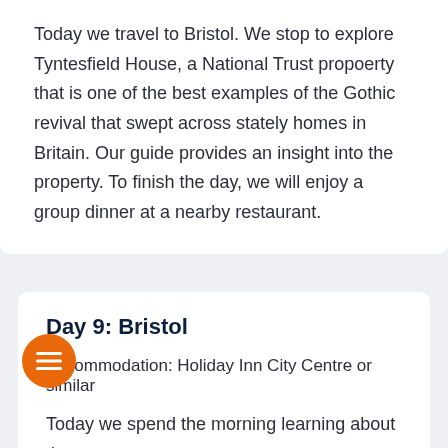Today we travel to Bristol. We stop to explore Tyntesfield House, a National Trust propoerty that is one of the best examples of the Gothic revival that swept across stately homes in Britain. Our guide provides an insight into the property. To finish the day, we will enjoy a group dinner at a nearby restaurant.
Day 9: Bristol
Accommodation: Holiday Inn City Centre or similar
Today we spend the morning learning about the [legacy] of Brunel, of one the great engineers during [the r]eign of Victoria. We visit the Clifton [Suspension bridge and SS Great Britain and]